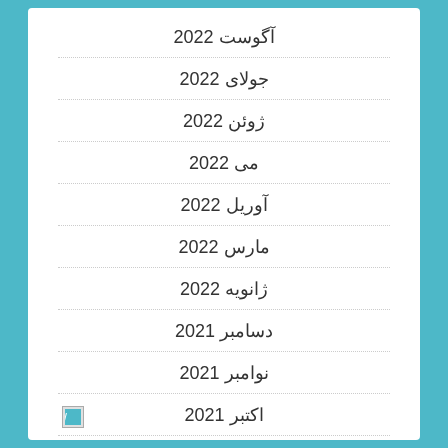آگوست 2022
جولای 2022
ژوئن 2022
می 2022
آوریل 2022
مارس 2022
ژانویه 2022
دسامبر 2021
نوامبر 2021
اکتبر 2021